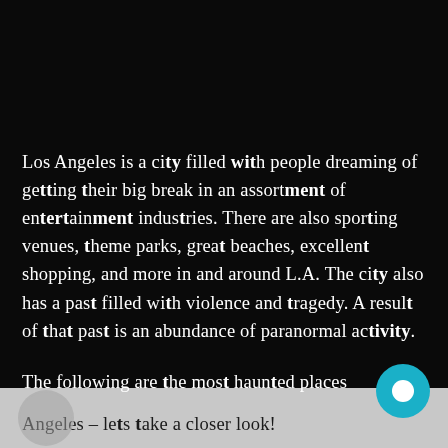Los Angeles is a city filled with people dreaming of getting their big break in an assortment of entertainment industries. There are also sporting venues, theme parks, great beaches, excellent shopping, and more in and around L.A. The city also has a past filled with violence and tragedy. A result of that past is an abundance of paranormal activity.

The following are the most haunted places in Los Angeles – lets take a closer look!